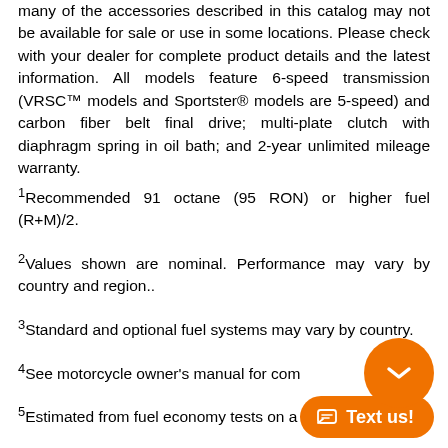many of the accessories described in this catalog may not be available for sale or use in some locations. Please check with your dealer for complete product details and the latest information. All models feature 6-speed transmission (VRSC™ models and Sportster® models are 5-speed) and carbon fiber belt final drive; multi-plate clutch with diaphragm spring in oil bath; and 2-year unlimited mileage warranty.
1Recommended 91 octane (95 RON) or higher fuel (R+M)/2.
2Values shown are nominal. Performance may vary by country and region..
3Standard and optional fuel systems may vary by country.
4See motorcycle owner's manual for com
5Estimated from fuel economy tests on a sample